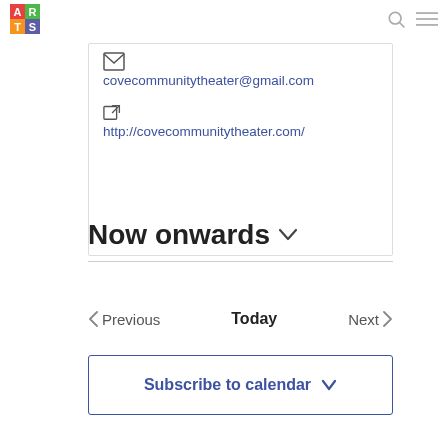ARTS logo with search and menu icons
covecommunitytheater@gmail.com
http://covecommunitytheater.com/
Now onwards
Previous  Today  Next
Subscribe to calendar